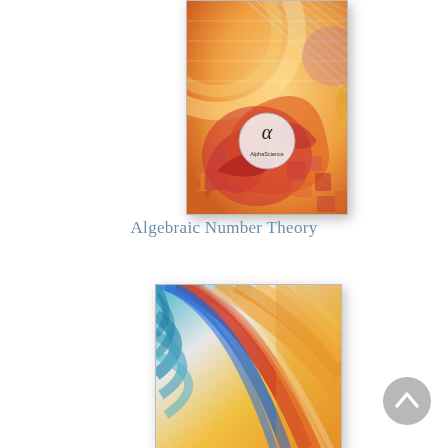[Figure (illustration): Book cover for 'Algebraic Number Theory' featuring an abstract colorful artwork with swirling shapes in red, orange, yellow and hints of blue/purple, with an alpha symbol (α) logo from AlphaScience in the center.]
Algebraic Number Theory
[Figure (illustration): Partial book cover showing abstract swirling brushstroke art in blue, red, orange and yellow tones — lower portion only visible.]
[Figure (other): Scroll-to-top circular button (grey arrow pointing up) in the bottom right corner.]